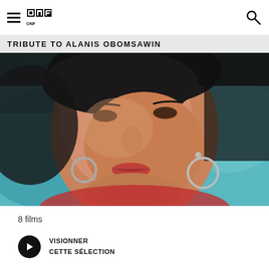ONF logo and navigation
TRIBUTE TO ALANIS OBOMSAWIN
[Figure (photo): Close-up portrait of a woman with dark hair, smiling, wearing silver hoop earrings, with a blurred teal/turquoise background]
8 films
VISIONNER CETTE SÉLECTION